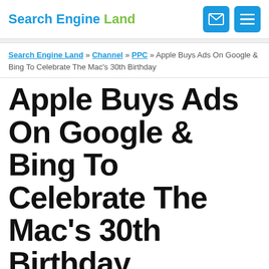Search Engine Land
Search Engine Land » Channel » PPC » Apple Buys Ads On Google & Bing To Celebrate The Mac's 30th Birthday
Apple Buys Ads On Google & Bing To Celebrate The Mac's 30th Birthday
Leaving nothing to chance, Apple's